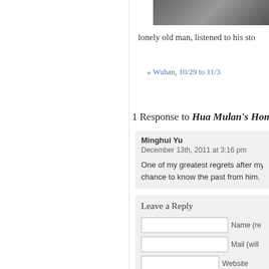[Figure (photo): Partial photo of a person outdoors, cropped at top of page]
lonely old man, listened to his sto
« Wuhan, 10/29 to 11/3
1 Response to Hua Mulan's Home
Minghui Yu
December 13th, 2011 at 3:16 pm
One of my greatest regrets after my fathe
chance to know the past from him.
Leave a Reply
Name (re
Mail (will
Website